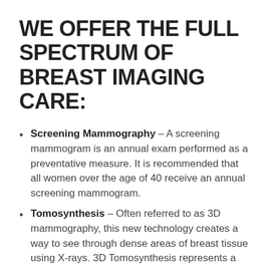WE OFFER THE FULL SPECTRUM OF BREAST IMAGING CARE:
Screening Mammography – A screening mammogram is an annual exam performed as a preventative measure. It is recommended that all women over the age of 40 receive an annual screening mammogram.
Tomosynthesis – Often referred to as 3D mammography, this new technology creates a way to see through dense areas of breast tissue using X-rays. 3D Tomosynthesis represents a dramatic leap forward in radiology's ability to diagnose breast cancer in